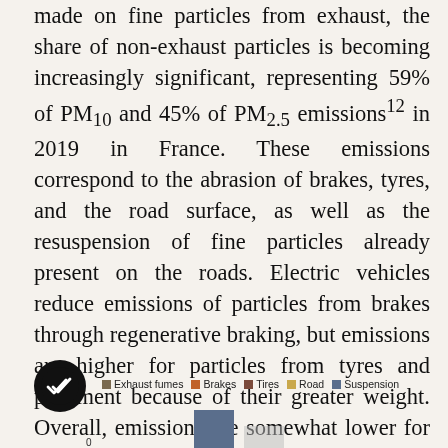made on fine particles from exhaust, the share of non-exhaust particles is becoming increasingly significant, representing 59% of PM10 and 45% of PM2.5 emissions¹² in 2019 in France. These emissions correspond to the abrasion of brakes, tyres, and the road surface, as well as the resuspension of fine particles already present on the roads. Electric vehicles reduce emissions of particles from brakes through regenerative braking, but emissions are higher for particles from tyres and pavement because of their greater weight. Overall, emissions are somewhat lower for electric vehicles, especially given that the driving range, and therefore the weight, of the vehicle is limited.
[Figure (bar-chart): Partially visible bar chart with legend showing categories: Exhaust fumes, Brakes, Tires, Road, Suspension. A circular checkmark icon is visible at bottom left.]